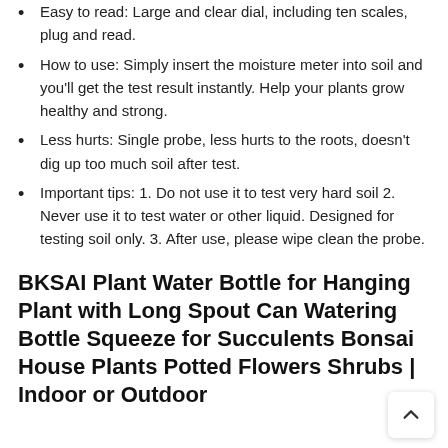Easy to read: Large and clear dial, including ten scales, plug and read.
How to use: Simply insert the moisture meter into soil and you'll get the test result instantly. Help your plants grow healthy and strong.
Less hurts: Single probe, less hurts to the roots, doesn't dig up too much soil after test.
Important tips: 1. Do not use it to test very hard soil 2. Never use it to test water or other liquid. Designed for testing soil only. 3. After use, please wipe clean the probe.
BKSAI Plant Water Bottle for Hanging Plant with Long Spout Can Watering Bottle Squeeze for Succulents Bonsai House Plants Potted Flowers Shrubs | Indoor or Outdoor